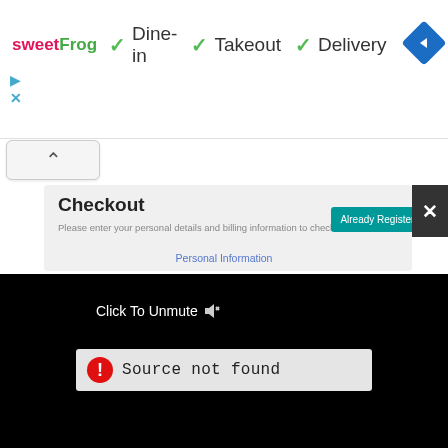[Figure (screenshot): sweetFrog logo with Dine-in, Takeout, Delivery checkmarks and a blue navigation diamond icon]
▷
✕
[Figure (screenshot): Collapse/up arrow button]
Checkout
Please enter your personal details and billing information to checkout.
Already Registered?
Personal Information
[Figure (screenshot): Black video panel with Click To Unmute text and speaker icon, showing Source not found error bar]